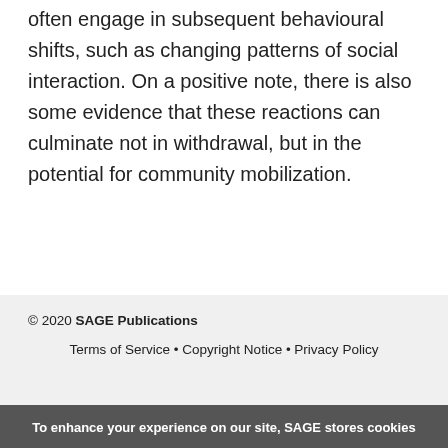often engage in subsequent behavioural shifts, such as changing patterns of social interaction. On a positive note, there is also some evidence that these reactions can culminate not in withdrawal, but in the potential for community mobilization.
© 2020 SAGE Publications
Terms of Service • Copyright Notice • Privacy Policy
To enhance your experience on our site, SAGE stores cookies